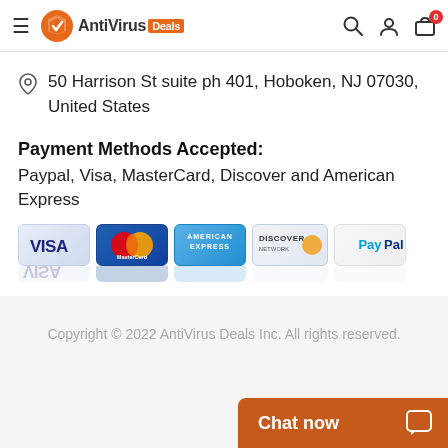AntiVirus Deals
50 Harrison St suite ph 401, Hoboken, NJ 07030, United States
Payment Methods Accepted:
Paypal, Visa, MasterCard, Discover and American Express
[Figure (logo): Payment card logos: Visa, MasterCard, American Express, Discover Network, PayPal]
Copyright © 2022 AntiVirus Deals Inc. All rights reserved.